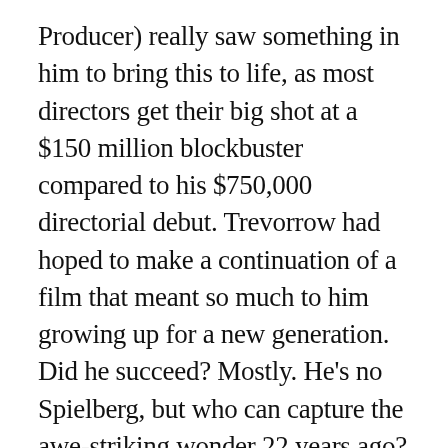Producer) really saw something in him to bring this to life, as most directors get their big shot at a $150 million blockbuster compared to his $750,000 directorial debut. Trevorrow had hoped to make a continuation of a film that meant so much to him growing up for a new generation. Did he succeed? Mostly. He's no Spielberg, but who can capture the awe-striking wonder 22 years ago? We finally have a film that captures the realism of a SeaWorld-style amusement park, which is exactly what we've desired since the beginning. In some way, World treats itself like a true sequel without a reference to the follow-ups. Since this is a Jurassic Park movie, first and foremost, it was only a matter of time for any creation to go sideways, proving again why messing with